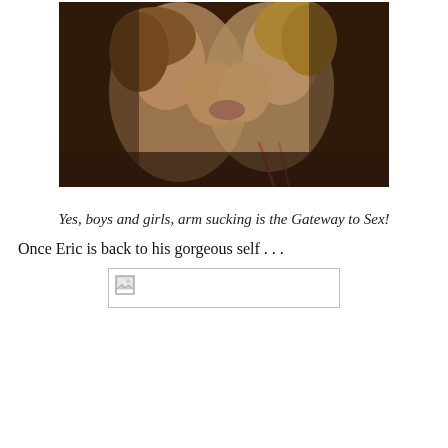[Figure (photo): Two people kissing closely, a romantic scene from what appears to be a TV show, dark background]
Yes, boys and girls, arm sucking is the Gateway to Sex!
Once Eric is back to his gorgeous self . . .
[Figure (photo): Broken image placeholder with small broken image icon]